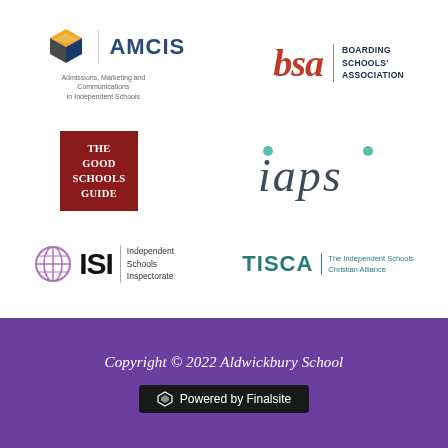[Figure (logo): AMCIS logo — cube icon with text AMCIS and subtitle Admissions, Marketing and Communications in Independent Schools]
[Figure (logo): BSA Boarding Schools' Association logo — red bsa letters with vertical rule and stacked text]
[Figure (logo): The Good Schools Guide logo — dark red square with white serif text]
[Figure (logo): iaps logo — dark teal lowercase italic text with teal dot accents]
[Figure (logo): ISI Independent Schools Inspectorate logo — purple globe icon, bold ISI letters, stacked subtext]
[Figure (logo): TISCA The Independent Schools Christian Alliance logo — teal bold letters with vertical rule and subtext]
Copyright © 2022 Aldwickbury School
Powered by Finalsite